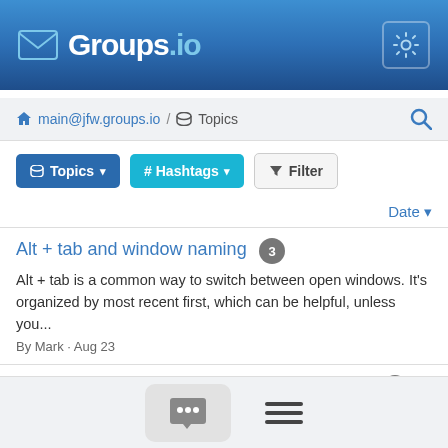Groups.io navigation header with logo and settings gear icon
main@jfw.groups.io / Topics
Topics ▾   # Hashtags ▾   Filter
Date ▾
Alt + tab and window naming  3
Alt + tab is a common way to switch between open windows. It's organized by most recent first, which can be helpful, unless you...
By Mark · Aug 23
Background programs interfering with JAWS  8
This is a problem I've been having for some time. A program I have running in the background – Ripping a CD, for example –...
By Dale Heltzer · Aug 22
Chat and menu buttons